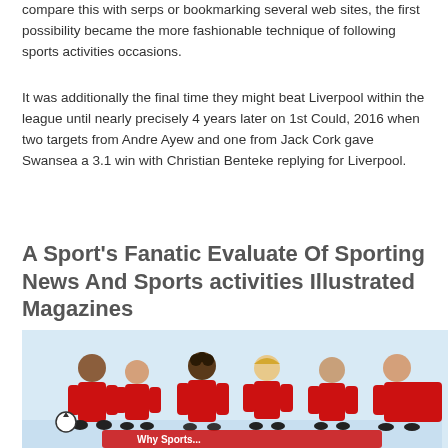compare this with serps or bookmarking several web sites, the first possibility became the more fashionable technique of following sports activities occasions.
It was additionally the final time they might beat Liverpool within the league until nearly precisely 4 years later on 1st Could, 2016 when two targets from Andre Ayew and one from Jack Cork gave Swansea a 3.1 win with Christian Benteke replying for Liverpool.
A Sport's Fanatic Evaluate Of Sporting News And Sports activities Illustrated Magazines
[Figure (photo): Photo of children wearing red sports jerseys, smiling and posing together as a team. Partial text visible at the bottom reading 'Why Sports...' on a banner.]